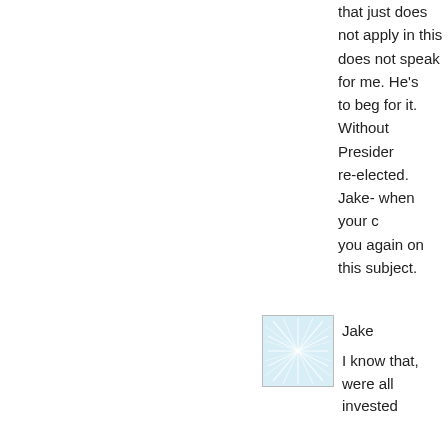that just does not apply in this... does not speak for me. He's to beg for it. Without Presider re-elected. Jake- when your c you again on this subject.
[Figure (illustration): Avatar image with light blue geometric web/network pattern on white background]
Jake
I know that, were all invested
[Figure (illustration): Avatar image with teal/green geometric radial grid pattern on white background]
Jake:
Link got truncated.

Here:

http://www.law.syr.edu/facu binladen_12_19_00.pdf

The key point is that this case years after FISA was change

Additionally, as the presiding